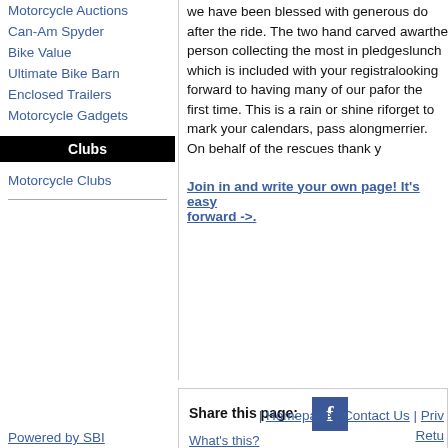Motorcycle Auctions
Can-Am Spyder
Bike Value
Ultimate Bike Barn
Enclosed Trailers
Motorcycle Gadgets
Clubs
Motorcycle Clubs
we have been blessed with generous do... after the ride. The two hand carved awar... the person collecting the most in pledges... lunch which is included with your registra... looking forward to having many of our pa... for the first time. This is a rain or shine ri... forget to mark your calendars, pass alon... merrier. On behalf of the rescues thank y...
Join in and write your own page! It's easy... forward ->.
Share this page:
What's this?
Enjoy this page? Please...
| Homepage | Contact Us | Priv...
Retu...
Powered by SBI